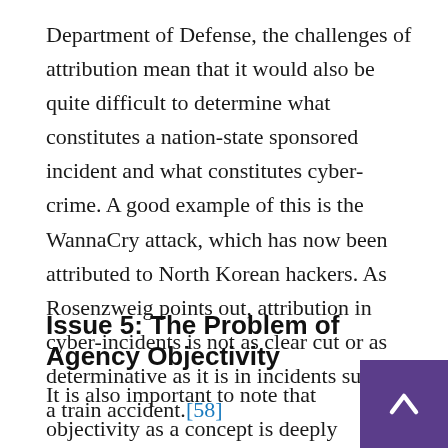Department of Defense, the challenges of attribution mean that it would also be quite difficult to determine what constitutes a nation-state sponsored incident and what constitutes cyber-crime. A good example of this is the WannaCry attack, which has now been attributed to North Korean hackers. As Rosenzweig points out, attribution in cyber-incidents is not as clear cut or as determinative as it is in incidents such as a train accident.[58]
Issue 5: The Problem of Agency Objectivity
It is also important to note that objectivity as a concept is deeply problematic when discussing federal cybersecurity because of the work of the